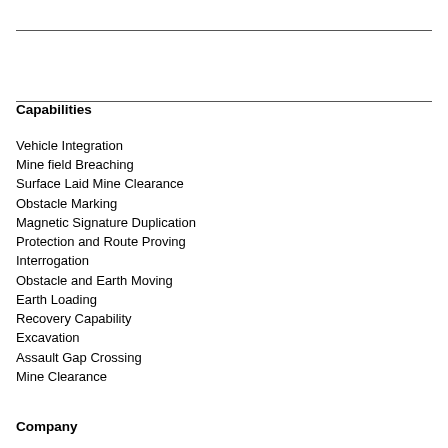Capabilities
Vehicle Integration
Mine field Breaching
Surface Laid Mine Clearance
Obstacle Marking
Magnetic Signature Duplication
Protection and Route Proving
Interrogation
Obstacle and Earth Moving
Earth Loading
Recovery Capability
Excavation
Assault Gap Crossing
Mine Clearance
Company